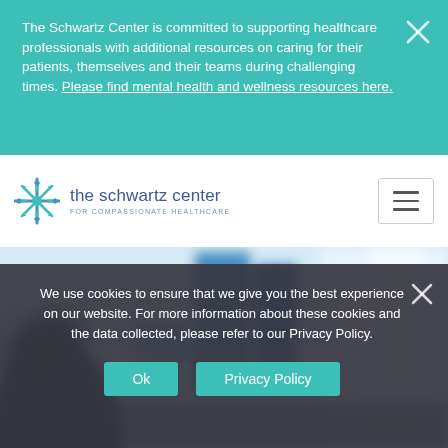The Schwartz Center is committed to supporting healthcare professionals with additional resources on caring for their patients, themselves and their teams during challenging times. Please find mental health and wellness resources here.
[Figure (logo): The Schwartz Center for Compassionate Healthcare logo with decorative snowflake/star icon in teal and blue]
[Figure (photo): Blurry background photo showing a person in a healthcare or office setting with blue panels/books visible]
We use cookies to ensure that we give you the best experience on our website. For more information about these cookies and the data collected, please refer to our Privacy Policy.